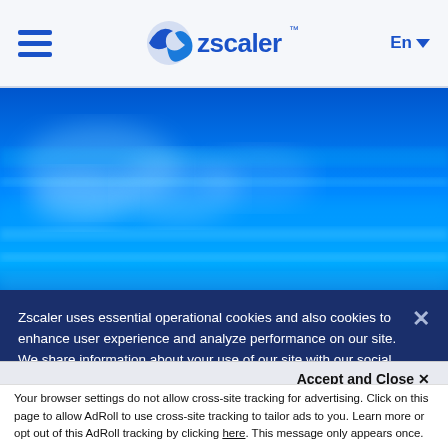Zscaler navigation bar with hamburger menu, Zscaler logo, and language selector En
[Figure (photo): Abstract blue motion blur background image with streaks of light, used as hero banner]
ON-DEMAND: Hear from our CISO, Deepen Desai, and Sr. Product Director, Rick Miles, as they discuss
Zscaler uses essential operational cookies and also cookies to enhance user experience and analyze performance on our site. We share information about your use of our site with our social media, advertising and analytics partners. By continuing to browse this site, you acknowledge the use of cookies.  Privacy Statement
Accept and Close ×
Your browser settings do not allow cross-site tracking for advertising. Click on this page to allow AdRoll to use cross-site tracking to tailor ads to you. Learn more or opt out of this AdRoll tracking by clicking here. This message only appears once.